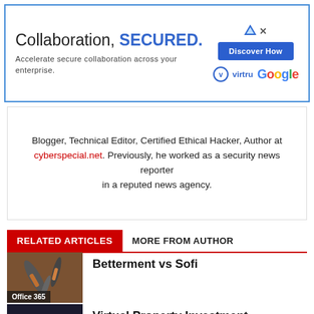[Figure (other): Advertisement banner: 'Collaboration, SECURED. Accelerate secure collaboration across your enterprise.' with Virtru and Google logos and a 'Discover How' button]
Blogger, Technical Editor, Certified Ethical Hacker, Author at cyberspecial.net. Previously, he worked as a security news reporter in a reputed news agency.
RELATED ARTICLES   MORE FROM AUTHOR
[Figure (photo): Thumbnail image of tools (hammers, etc.) on a wooden surface with label 'Office 365']
Betterment vs Sofi
[Figure (photo): Thumbnail image of a dark world map (phishing theme) with label 'Phishing']
Virtual Property Investment